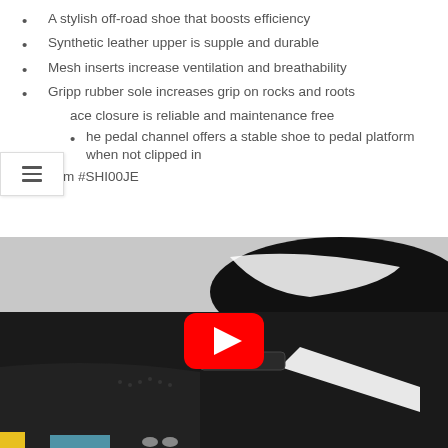A stylish off-road shoe that boosts efficiency
Synthetic leather upper is supple and durable
Mesh inserts increase ventilation and breathability
Gripp rubber sole increases grip on rocks and roots
ace closure is reliable and maintenance free
The pedal channel offers a stable shoe to pedal platform when not clipped in
Item #SHI00JE
[Figure (photo): A black cycling shoe being held, showing the top and side profile with white accents, with a YouTube play button overlay in the center.]